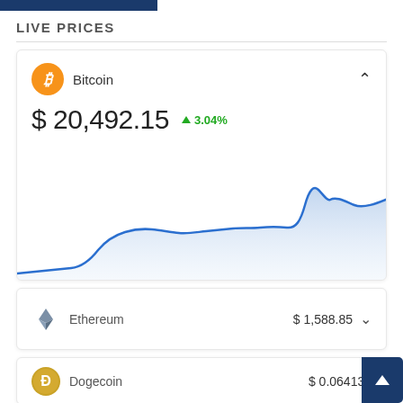LIVE PRICES
[Figure (area-chart): Area chart showing Bitcoin price trend over time with blue line and light blue shaded area below. Price rises from low on left, peaks in middle-left, dips slightly, then rises sharply near the right end to a new high.]
Bitcoin  $ 20,492.15  ▲ 3.04%
Ethereum  $ 1,588.85
Dogecoin  $ 0.064137